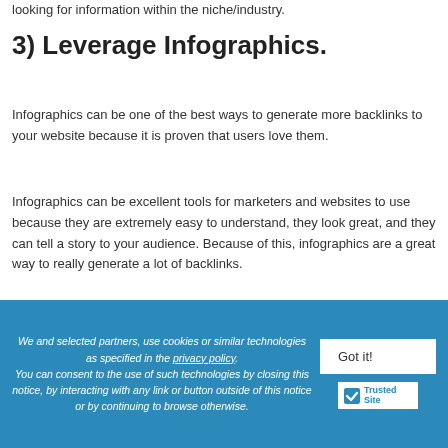looking for information within the niche/industry.
3) Leverage Infographics.
Infographics can be one of the best ways to generate more backlinks to your website because it is proven that users love them.
Infographics can be excellent tools for marketers and websites to use because they are extremely easy to understand, they look great, and they can tell a story to your audience. Because of this, infographics are a great way to really generate a lot of backlinks.
All you need to do is create a unique and compelling infographic, and you will be able to generate not only traffic with it, but you will generate a lot of shares and backlinks at
We and selected partners, use cookies or similar technologies as specified in the privacy policy. You can consent to the use of such technologies by closing this notice, by interacting with any link or button outside of this notice or by continuing to browse otherwise.